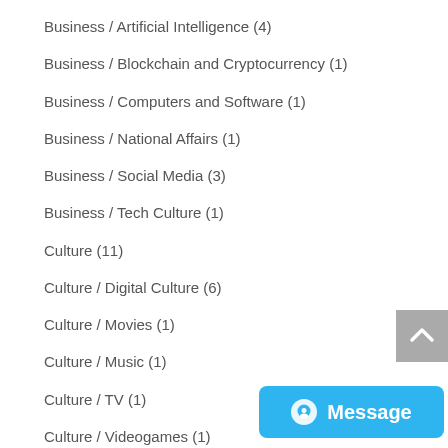Business / Artificial Intelligence (4)
Business / Blockchain and Cryptocurrency (1)
Business / Computers and Software (1)
Business / National Affairs (1)
Business / Social Media (3)
Business / Tech Culture (1)
Culture (11)
Culture / Digital Culture (6)
Culture / Movies (1)
Culture / Music (1)
Culture / TV (1)
Culture / Videogames (1)
Free Merch Marketing (1)